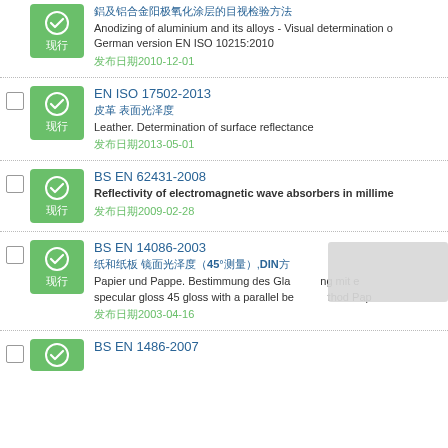Anodizing of aluminium and its alloys - Visual determination of... German version EN ISO 10215:2010 | 发布日期2010-12-01
EN ISO 17502-2013 | 皮革 表面光泽度 | Leather. Determination of surface reflectance | 发布日期2013-05-01
BS EN 62431-2008 | Reflectivity of electromagnetic wave absorbers in millime... | 发布日期2009-02-28
BS EN 14086-2003 | 纸和纸板 镜面光泽度（45°测量），DIN方 | Papier und Pappe. Bestimmung des Gla... ng mit e specular gloss 45 gloss with a parallel be... thod Pap | 发布日期2003-04-16
BS EN 1486-2007